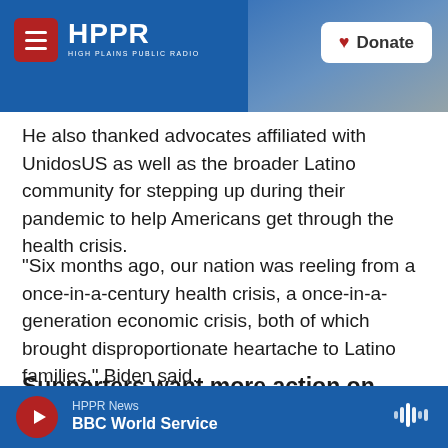HPPR HIGH PLAINS PUBLIC RADIO | Donate
He also thanked advocates affiliated with UnidosUS as well as the broader Latino community for stepping up during their pandemic to help Americans get through the health crisis.
"Six months ago, our nation was reeling from a once-in-a-century health crisis, a once-in-a-generation economic crisis, both of which brought disproportionate heartache to Latino families," Biden said.
Supporters want more action on
HPPR News | BBC World Service